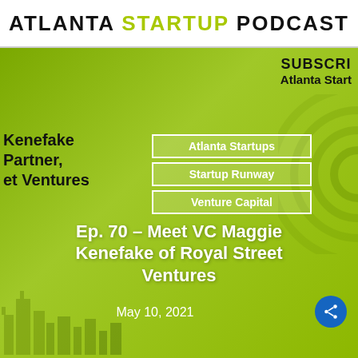ATLANTA STARTUP PODCAST
[Figure (photo): Screenshot of Atlanta Startup Podcast website showing episode page for Ep. 70 – Meet VC Maggie Kenefake of Royal Street Ventures. Green background with photo of a smiling blonde woman. Tags: Atlanta Startups, Startup Runway, Venture Capital. Date: May 10, 2021.]
SUBSCRIBE
Atlanta Start
Kenefake
Partner,
et Ventures
Atlanta Startups
Startup Runway
Venture Capital
Ep. 70 – Meet VC Maggie Kenefake of Royal Street Ventures
May 10, 2021